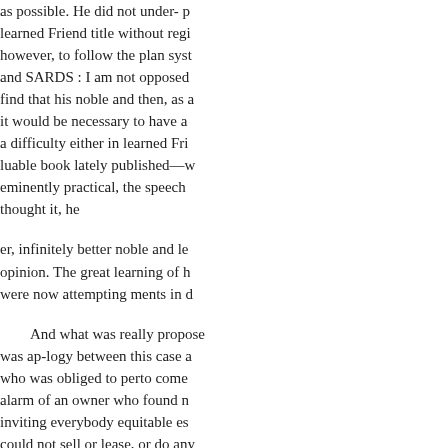as possible. He did not under- p learned Friend title without regi however, to follow the plan syst and SARDS : I am not opposed find that his noble and then, as a it would be necessary to have a a difficulty either in learned Fri luable book lately published—w eminently practical, the speech thought it, he
er, infinitely better noble and le opinion. The great learning of h were now attempting ments in d
And what was really propose was ap-logy between this case a who was obliged to perto come alarm of an owner who found n inviting everybody equitable es could not sell or lease, or do any equitable title. or otherwise to b This would be to rouse the sleep men's brances and settlements a take care that there were kind o